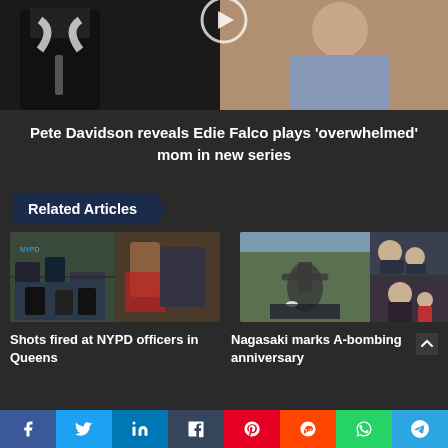[Figure (photo): Photo of Pete Davidson in black jacket and Edie Falco on stage with orange background, play button overlay]
Pete Davidson reveals Edie Falco plays 'overwhelmed' mom in new series
Related Articles
[Figure (photo): Composite photo of NYPD officers at a shooting scene in Queens]
Shots fired at NYPD officers in Queens
[Figure (photo): Composite photo of Nagasaki A-bomb anniversary memorial ceremony]
Nagasaki marks A-bombing anniversary
Share buttons: Facebook, Twitter, LinkedIn, Tumblr, Pinterest, Reddit, WhatsApp, Telegram